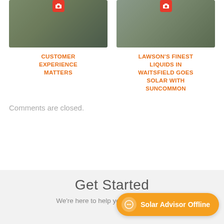[Figure (photo): Two people standing in front of a house with gardens]
[Figure (photo): Aerial view of a building with solar panels in a parking lot]
CUSTOMER EXPERIENCE MATTERS
LAWSON'S FINEST LIQUIDS IN WAITSFIELD GOES SOLAR WITH SUNCOMMON
Comments are closed.
Get Started
We're here to help you find your solar
Solar Advisor Offline